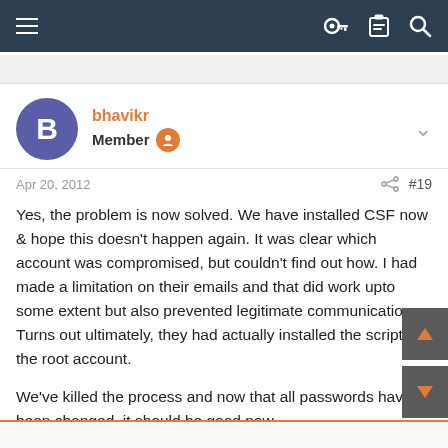Navigation bar with hamburger menu and icons
bhavikr
Member
Apr 20, 2012  #19
Yes, the problem is now solved. We have installed CSF now & hope this doesn't happen again. It was clear which account was compromised, but couldn't find out how. I had made a limitation on their emails and that did work upto some extent but also prevented legitimate communication. Turns out ultimately, they had actually installed the script on the root account.

We've killed the process and now that all passwords have been changed, it should be good now.